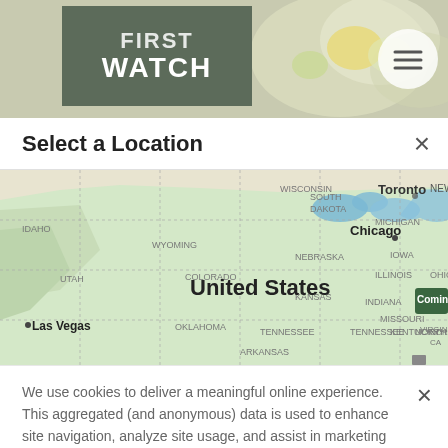[Figure (screenshot): First Watch restaurant website header with logo on olive/sage background and hamburger menu button]
Select a Location
[Figure (map): Google Map showing United States with city labels including Chicago, Las Vegas, Toronto. A 'Coming' badge visible in upper right area.]
We use cookies to deliver a meaningful online experience. This aggregated (and anonymous) data is used to enhance site navigation, analyze site usage, and assist in marketing efforts. Privacy Policy
Manage Settings